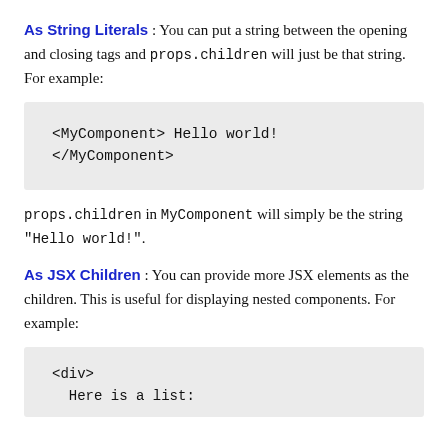As String Literals : You can put a string between the opening and closing tags and props.children will just be that string.  For example:
<MyComponent> Hello world!</MyComponent>
props.children in MyComponent will simply be the string "Hello world!".
As JSX Children : You can provide more JSX elements as the children. This is useful for displaying nested components. For example:
<div>
  Here is a list: